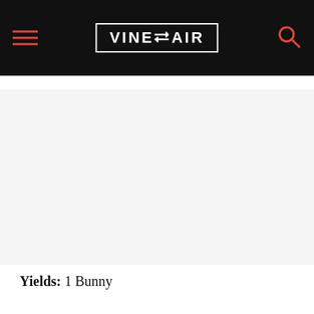VINEPAIR
[Figure (other): Advertisement placeholder area with light gray background]
Yields: 1 Bunny